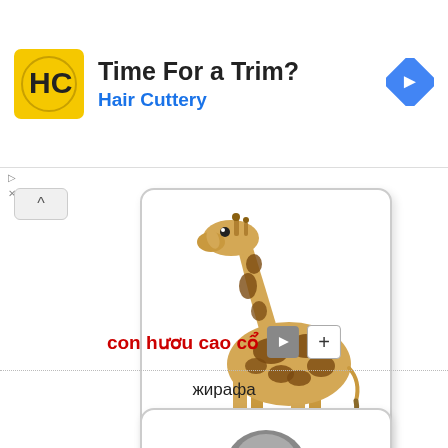[Figure (other): Hair Cuttery advertisement banner with yellow logo, 'Time For a Trim?' headline and blue navigation arrow]
[Figure (photo): Photograph of a giraffe standing sideways on white background inside a rounded card]
con hươu cao cổ
жирафа
[Figure (photo): Partial view of a second card at bottom of page showing a dark-colored animal]